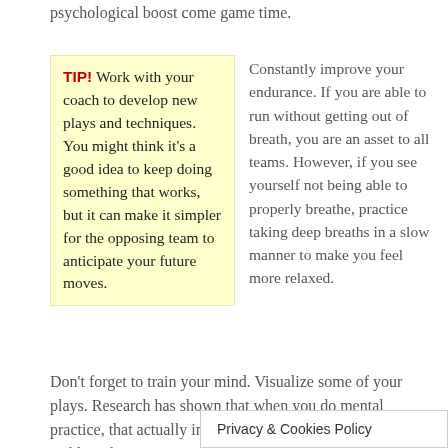psychological boost come game time.
TIP! Work with your coach to develop new plays and techniques. You might think it's a good idea to keep doing something that works, but it can make it simpler for the opposing team to anticipate your future moves.
Constantly improve your endurance. If you are able to run without getting out of breath, you are an asset to all teams. However, if you see yourself not being able to properly breathe, practice taking deep breaths in a slow manner to make you feel more relaxed.
Don't forget to train your mind. Visualize some of your plays. Research has shown that when you do mental practice, that actually improves your game. Envision tackling the opposing n, and you'll eventually be di
Privacy & Cookies Policy